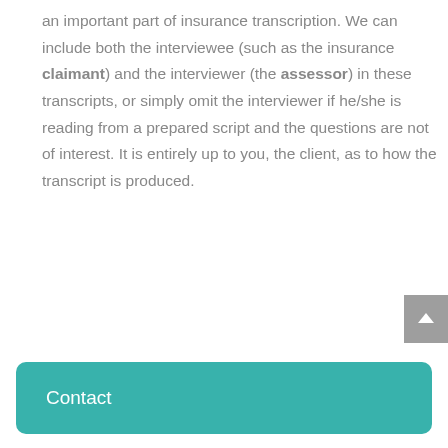an important part of insurance transcription. We can include both the interviewee (such as the insurance claimant) and the interviewer (the assessor) in these transcripts, or simply omit the interviewer if he/she is reading from a prepared script and the questions are not of interest. It is entirely up to you, the client, as to how the transcript is produced.
Contact